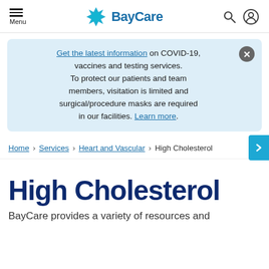Menu | BayCare
Get the latest information on COVID-19, vaccines and testing services. To protect our patients and team members, visitation is limited and surgical/procedure masks are required in our facilities. Learn more.
Home > Services > Heart and Vascular > High Cholesterol
High Cholesterol
BayCare provides a variety of resources and